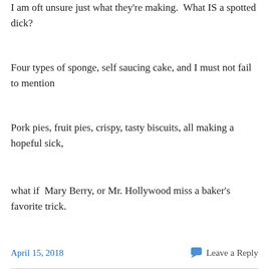I am oft unsure just what they're making.  What IS a spotted dick?
Four types of sponge, self saucing cake, and I must not fail to mention
Pork pies, fruit pies, crispy, tasty biscuits, all making a hopeful sick,
what if  Mary Berry, or Mr. Hollywood miss a baker's favorite trick.
April 15, 2018   Leave a Reply